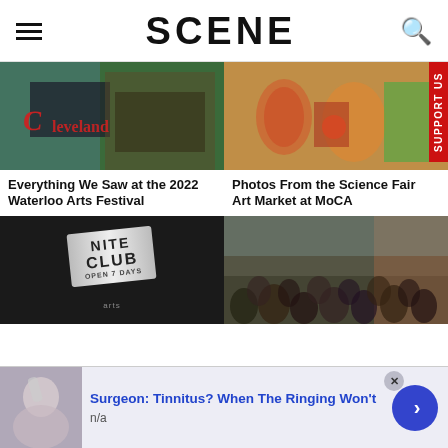SCENE
[Figure (photo): Cleveland sign mural with colorful painted wall background]
Everything We Saw at the 2022 Waterloo Arts Festival
[Figure (photo): Colorful handmade art objects including glass cups and craft items at an art market]
Photos From the Science Fair Art Market at MoCA
[Figure (photo): Nite Club Open 7 Days sign/badge on dark background with Arts label]
[Figure (photo): Large crowd of people at an outdoor street festival]
Surgeon: Tinnitus? When The Ringing Won't
n/a